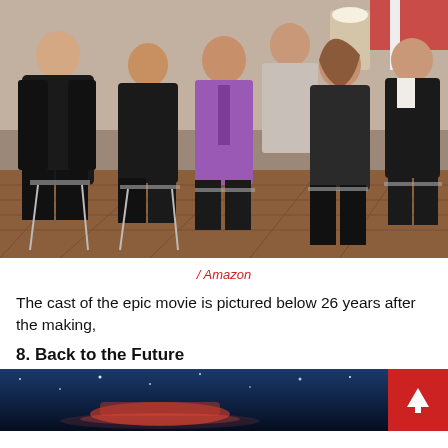[Figure (photo): Group photo of six people (cast members) seated/standing together in an indoor setting, all wearing mostly dark clothing except one in a purple shirt and tie]
/ Amazon
The cast of the epic movie is pictured below 26 years after the making,
8. Back to the Future
[Figure (photo): Partial photo at bottom of page showing what appears to be a Back to the Future movie scene with a futuristic vehicle against a dark blue background]